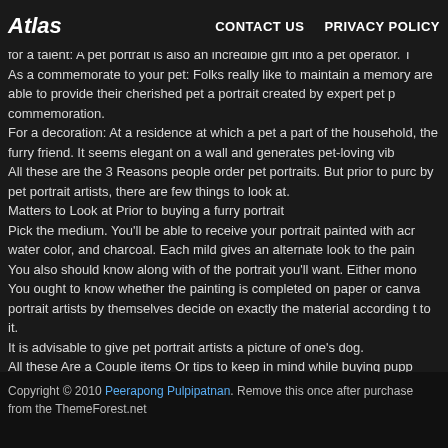Atlas | CONTACT US | PRIVACY POLICY
some do it for you. There are many reasons individuals dictate a pet p
Factors to order a puppy Portrait.
for a talent: A pet portrait is also an incredible gift into a pet operator. T
As a commemorate to your pet: Folks really like to maintain a memory are able to provide their cherished pet a portrait created by expert pet p commemoration.
For a decoration: At a residence at which a pet a part of the household, the furry friend. It seems elegant on a wall and generates pet-loving vib
All these are the 3 Reasons people order pet portraits. But prior to purc by pet portrait artists, there are few things to look at.
Matters to Look at Prior to buying a furry portrait
Pick the medium. You'll be able to receive your portrait painted with acr water color, and charcoal. Each mild gives an alternate look to the pain
You also should know along with of the portrait you'll want. Either mono You ought to know whether the painting is completed on paper or canva portrait artists by themselves decide on exactly the material according t to it.
It is advisable to give pet portrait artists a picture of one's dog.
All these Are a Couple items Or tips to keep in mind while buying pupp reminds you of the responsibility you maintain on your own pet.
Copyright © 2010 Peerapong Pulpipatnan. Remove this once after purchase from the ThemeForest.net